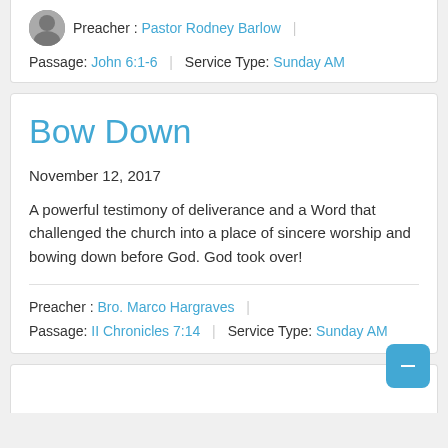Preacher : Pastor Rodney Barlow | Passage: John 6:1-6 | Service Type: Sunday AM
Bow Down
November 12, 2017
A powerful testimony of deliverance and a Word that challenged the church into a place of sincere worship and bowing down before God. God took over!
Preacher : Bro. Marco Hargraves | Passage: II Chronicles 7:14 | Service Type: Sunday AM